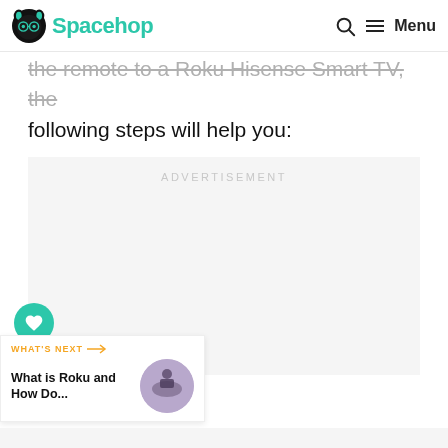Spacehop — Menu
the remote to a Roku Hisense Smart TV, the following steps will help you:
[Figure (other): Advertisement placeholder box with 'ADVERTISEMENT' label in gray text]
37
WHAT'S NEXT → What is Roku and How Do...